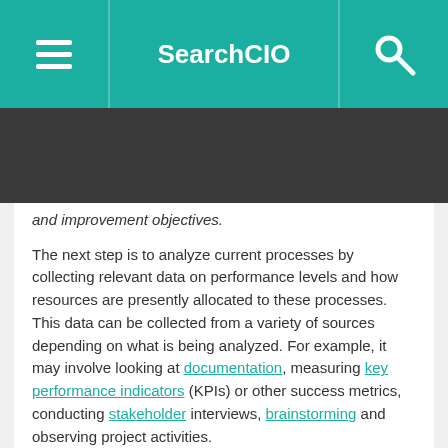SearchCIO
and improvement objectives.
The next step is to analyze current processes by collecting relevant data on performance levels and how resources are presently allocated to these processes. This data can be collected from a variety of sources depending on what is being analyzed. For example, it may involve looking at documentation, measuring key performance indicators (KPIs) or other success metrics, conducting stakeholder interviews, brainstorming and observing project activities.
After a company compares its target goals against its current state, it can then draw up a comprehensive plan. Such a plan outlines a step-by-step process to fill